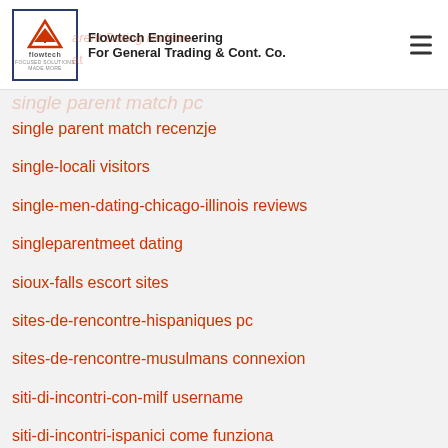Flowtech Engineering For General Trading & Cont. Co.
single parent match recenzje
single-locali visitors
single-men-dating-chicago-illinois reviews
singleparentmeet dating
sioux-falls escort sites
sites-de-rencontre-hispaniques pc
sites-de-rencontre-musulmans connexion
siti-di-incontri-con-milf username
siti-di-incontri-ispanici come funziona
sitio de solteros reales
sitios-de-citas-asiaticos web